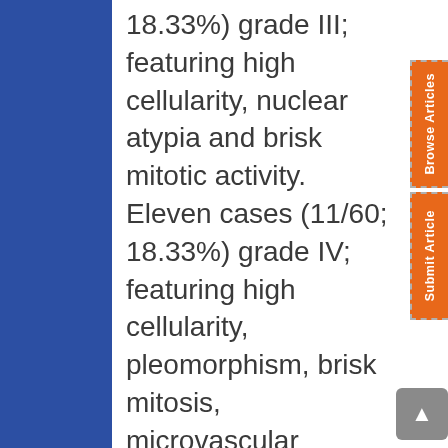18.33%) grade III; featuring high cellularity, nuclear atypia and brisk mitotic activity. Eleven cases (11/60; 18.33%) grade IV; featuring high cellularity, pleomorphism, brisk mitosis, microvascular proliferation and geographic